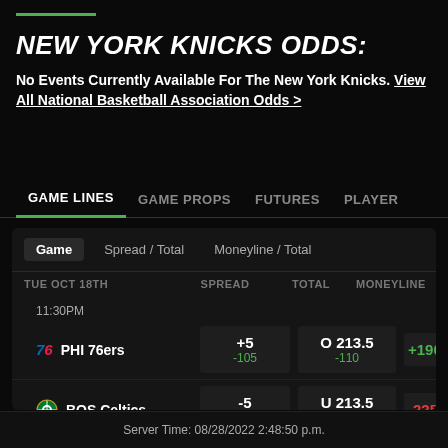NEW YORK KNICKS ODDS:
No Events Currently Available For The New York Knicks. View All National Basketball Association Odds >
GAME LINES  GAME PROPS  FUTURES  PLAYER
| Game | Spread / Total | Moneyline / Total |  |
| --- | --- | --- | --- |
| TUE OCT 18TH | SPREAD | TOTAL | MONEYLINE |
| 11:30PM |  |  |  |
| PHI 76ers | +5 / -105 | O 213.5 / -110 | +190 |
| BOS Celtics | -5 / -115 | U 213.5 / -110 | -225 |
Server Time: 08/28/2022 2:48:50 p.m.